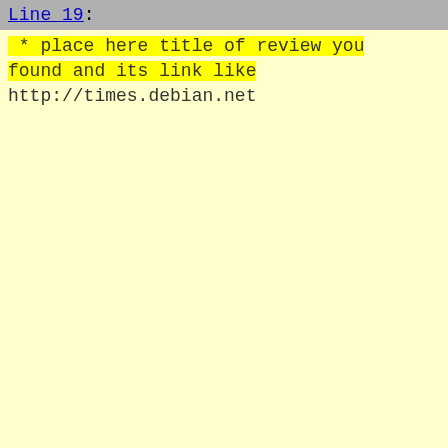Line 19:
* place here title of review you found and its link like http://times.debian.net
Line
Debi
* s
ser
* d
the
* b
* b
* A
* b
* b
* b
* s
007:
* b
* b
* b
* b